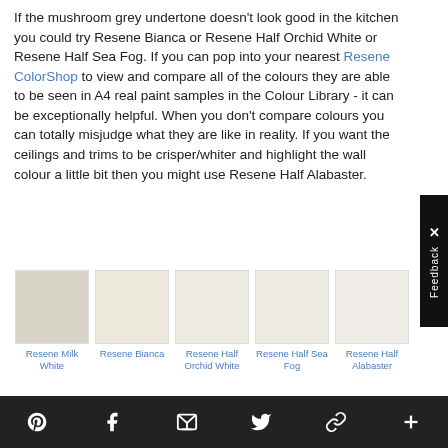If the mushroom grey undertone doesn't look good in the kitchen you could try Resene Bianca or Resene Half Orchid White or Resene Half Sea Fog. If you can pop into your nearest Resene ColorShop to view and compare all of the colours they are able to be seen in A4 real paint samples in the Colour Library - it can be exceptionally helpful. When you don't compare colours you can totally misjudge what they are like in reality. If you want the ceilings and trims to be crisper/whiter and highlight the wall colour a little bit then you might use Resene Half Alabaster.
[Figure (other): Five paint colour swatches in a row: Resene Milk White (light grey-beige), Resene Bianca (warm cream), Resene Half Orchid White (very light cream), Resene Half Sea Fog (very light warm white), Resene Half Alabaster (near white). Each swatch has a colour label beneath it in blue text.]
Pinterest | Facebook | Email | Twitter | Link | Plus icons row